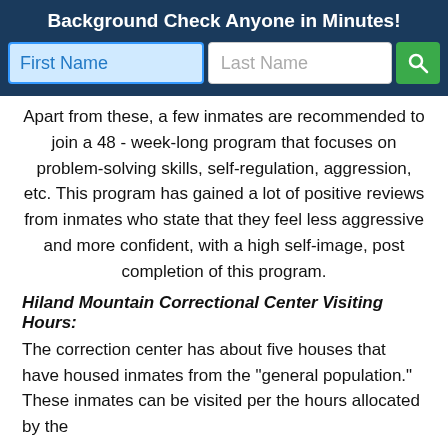Background Check Anyone in Minutes!
[Figure (screenshot): Search bar with First Name and Last Name input fields and a green search button]
Apart from these, a few inmates are recommended to join a 48 - week-long program that focuses on problem-solving skills, self-regulation, aggression, etc. This program has gained a lot of positive reviews from inmates who state that they feel less aggressive and more confident, with a high self-image, post completion of this program.
Hiland Mountain Correctional Center Visiting Hours:
The correction center has about five houses that have housed inmates from the "general population." These inmates can be visited per the hours allocated by the